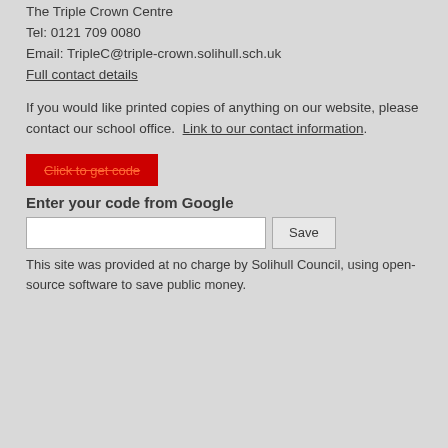The Triple Crown Centre
Tel: 0121 709 0080
Email: TripleC@triple-crown.solihull.sch.uk
Full contact details
If you would like printed copies of anything on our website, please contact our school office.  Link to our contact information.
[Figure (other): Red button with text 'Click to get code']
Enter your code from Google
This site was provided at no charge by Solihull Council, using open-source software to save public money.